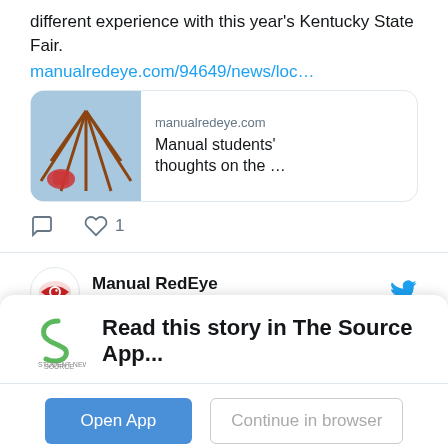different experience with this year's Kentucky State Fair.
manualredeye.com/94649/news/loc…
[Figure (screenshot): Link preview card showing manualredeye.com with image of fair ride and text 'Manual students' thoughts on the …']
[Figure (screenshot): Tweet interaction icons: comment bubble and heart with count 1]
Manual RedEye @manualred… · Aug 29
NEW: As Jefferson county COVID-19 levels continue to be in the red, Manual
Read this story in The Source App...
Open App
Continue in browser